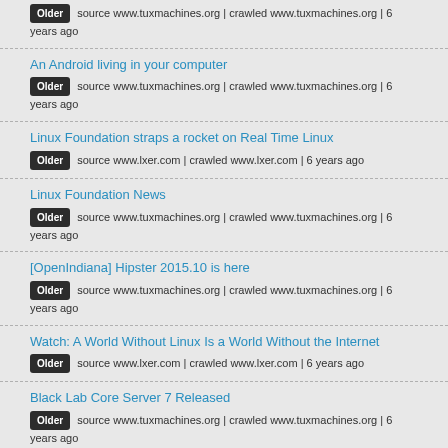Older source www.tuxmachines.org | crawled www.tuxmachines.org | 6 years ago
An Android living in your computer
Older source www.tuxmachines.org | crawled www.tuxmachines.org | 6 years ago
Linux Foundation straps a rocket on Real Time Linux
Older source www.lxer.com | crawled www.lxer.com | 6 years ago
Linux Foundation News
Older source www.tuxmachines.org | crawled www.tuxmachines.org | 6 years ago
[OpenIndiana] Hipster 2015.10 is here
Older source www.tuxmachines.org | crawled www.tuxmachines.org | 6 years ago
Watch: A World Without Linux Is a World Without the Internet
Older source www.lxer.com | crawled www.lxer.com | 6 years ago
Black Lab Core Server 7 Released
Older source www.tuxmachines.org | crawled www.tuxmachines.org | 6 years ago